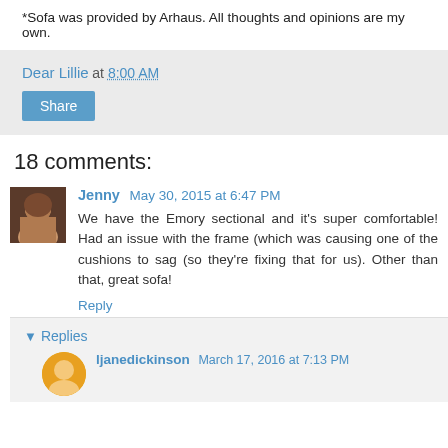*Sofa was provided by Arhaus. All thoughts and opinions are my own.
Dear Lillie at 8:00 AM
Share
18 comments:
Jenny May 30, 2015 at 6:47 PM
We have the Emory sectional and it's super comfortable! Had an issue with the frame (which was causing one of the cushions to sag (so they're fixing that for us). Other than that, great sofa!
Reply
Replies
ljanedickinson March 17, 2016 at 7:13 PM